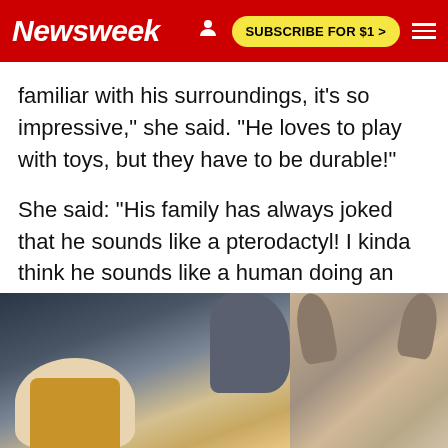Newsweek | SUBSCRIBE FOR $1 >
familiar with his surroundings, it's so impressive," she said. "He loves to play with toys, but they have to be durable!"
She said: "His family has always joked that he sounds like a pterodactyl! I kinda think he sounds like a human doing an impression of a dog barking or Christian Bale as Batman."
[Figure (photo): Two photos side by side: left photo shows a dog and a person wearing a yellow/tan beanie hat; right photo shows a large-eared dog (possibly a Chihuahua mix) lying down.]